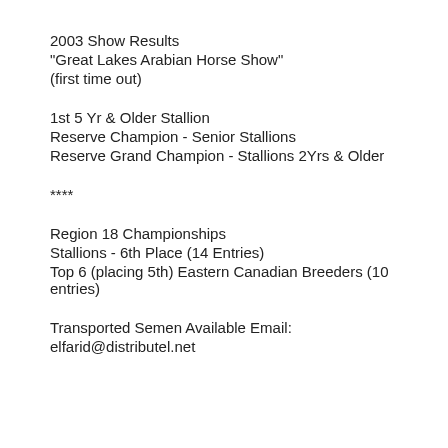2003 Show Results
"Great Lakes Arabian Horse Show"
(first time out)
1st 5 Yr & Older Stallion
Reserve Champion - Senior Stallions
Reserve Grand Champion - Stallions 2Yrs & Older
****
Region 18 Championships
Stallions - 6th Place (14 Entries)
Top 6 (placing 5th) Eastern Canadian Breeders (10 entries)
Transported Semen Available Email:
elfarid@distributel.net